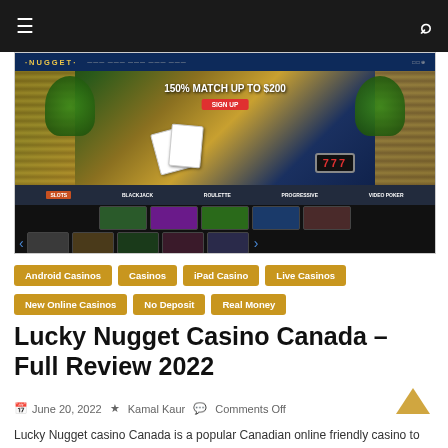Navigation bar with hamburger menu and search icon
[Figure (screenshot): Lucky Nugget Casino Canada website screenshot showing '150% MATCH UP TO $200' banner, casino games lobby with slots, blackjack, roulette, and game thumbnails]
Android Casinos
Casinos
iPad Casino
Live Casinos
New Online Casinos
No Deposit
Real Money
Lucky Nugget Casino Canada – Full Review 2022
June 20, 2022  Kamal Kaur  Comments Off
Lucky Nugget casino Canada is a popular Canadian online friendly casino to play slots, table games and other casino